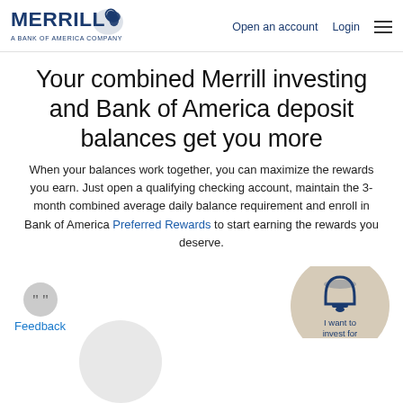Merrill — A Bank of America Company | Open an account | Login
Your combined Merrill investing and Bank of America deposit balances get you more
When your balances work together, you can maximize the rewards you earn. Just open a qualifying checking account, maintain the 3-month combined average daily balance requirement and enroll in Bank of America Preferred Rewards to start earning the rewards you deserve.
[Figure (illustration): Feedback button with speech bubble icon containing quotation marks]
[Figure (illustration): Circular icon with bell/account symbol and label 'I want to...' partially visible]